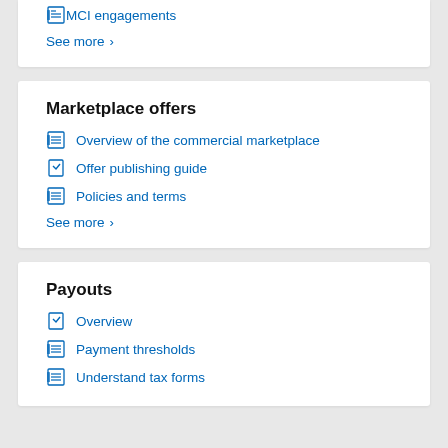MCI engagements
See more >
Marketplace offers
Overview of the commercial marketplace
Offer publishing guide
Policies and terms
See more >
Payouts
Overview
Payment thresholds
Understand tax forms